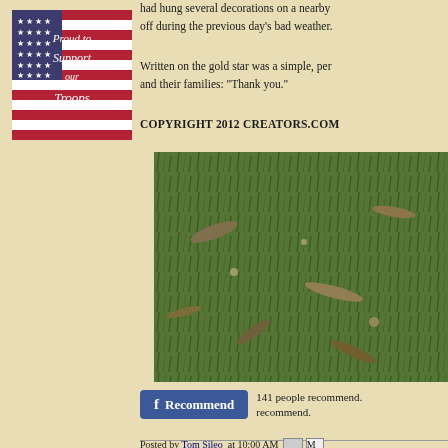[Figure (illustration): Proud to Support our Troops image with American flag background and white text]
had hung several decorations on a nearby off during the previous day's bad weather.
Written on the gold star was a simple, per and their families: "Thank you."
COPYRIGHT 2012 CREATORS.COM
[Figure (photo): Close-up photo of grass with leaves and debris on the ground]
141 people recommend. [Facebook Recommend button]
Posted by Tom Sileo at 10:00 AM
Labels: Afghanistan , Air Force , army , casualties , Personal , terrorism , wounded